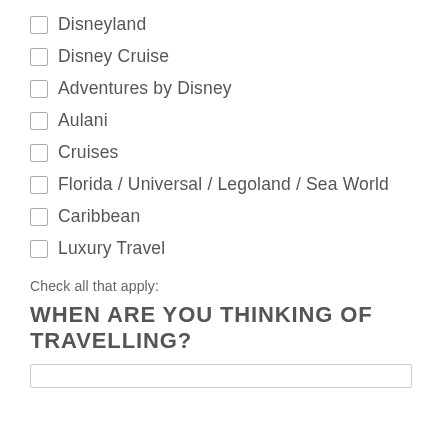Disneyland
Disney Cruise
Adventures by Disney
Aulani
Cruises
Florida / Universal / Legoland / Sea World
Caribbean
Luxury Travel
Check all that apply:
WHEN ARE YOU THINKING OF TRAVELLING?